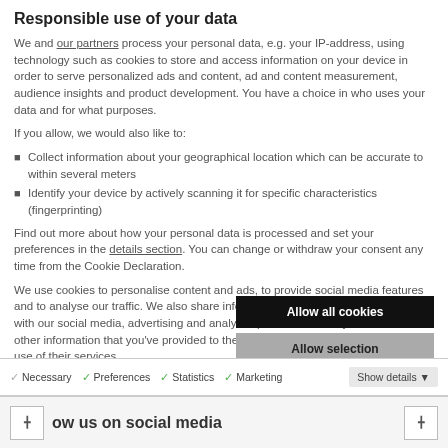Responsible use of your data
We and our partners process your personal data, e.g. your IP-address, using technology such as cookies to store and access information on your device in order to serve personalized ads and content, ad and content measurement, audience insights and product development. You have a choice in who uses your data and for what purposes.
If you allow, we would also like to:
Collect information about your geographical location which can be accurate to within several meters
Identify your device by actively scanning it for specific characteristics (fingerprinting)
Find out more about how your personal data is processed and set your preferences in the details section. You can change or withdraw your consent any time from the Cookie Declaration.
We use cookies to personalise content and ads, to provide social media features and to analyse our traffic. We also share information about your use of our site with our social media, advertising and analytics partners who may combine it with other information that you've provided to them or that they've collected from your use of their services.
Allow all cookies
Allow selection
Use necessary cookies only
Necessary   Preferences   Statistics   Marketing   Show details
ow us on social media